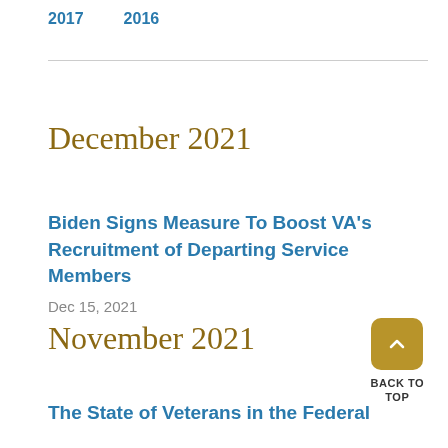2017   2016
December 2021
Biden Signs Measure To Boost VA's Recruitment of Departing Service Members
Dec 15, 2021
November 2021
The State of Veterans in the Federal
BACK TO TOP